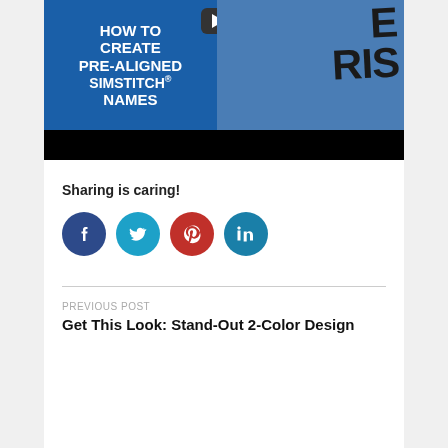[Figure (screenshot): Video thumbnail showing 'HOW TO CREATE PRE-ALIGNED SimStitch® NAMES' text on blue background with a play button, and a person holding a blue shirt with text.]
Sharing is caring!
[Figure (infographic): Four social media share buttons: Facebook (dark blue), Twitter (light blue), Pinterest (red), LinkedIn (teal)]
PREVIOUS POST
Get This Look: Stand-Out 2-Color Design